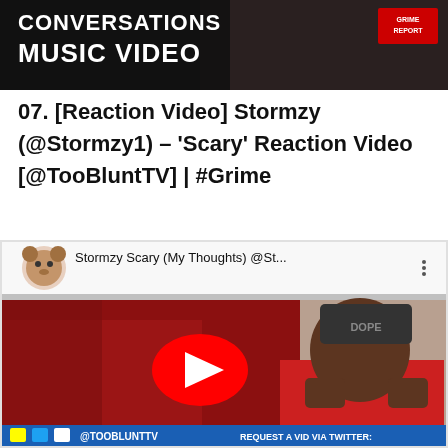[Figure (screenshot): Screenshot of a YouTube video thumbnail showing 'CONVERSATIONS MUSIC VIDEO' text over a dark background with a person holding a cigarette. A 'GRIME REPORT' logo is visible in the top right corner.]
07. [Reaction Video] Stormzy (@Stormzy1) – 'Scary' Reaction Video [@TooBluntTV] | #Grime
[Figure (screenshot): Screenshot of a YouTube video embed showing 'Stormzy Scary (My Thoughts) @St...' with a channel avatar (cartoon bear/animal icon). The video shows a young Black man sitting on a red sofa with his hands on his face, wearing a 'DOPE' cap. A large red YouTube play button is visible in the center. At the bottom is a blue bar with '@TOOBLUNTTV' and 'REQUEST A VID VIA TWITTER:' text.]